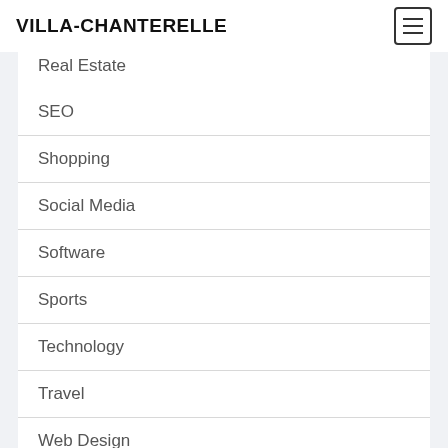VILLA-CHANTERELLE
Real Estate
SEO
Shopping
Social Media
Software
Sports
Technology
Travel
Web Design
Web hosting